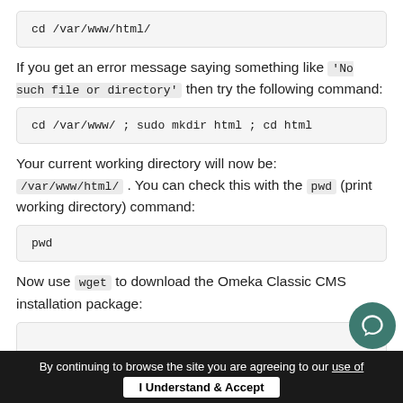cd /var/www/html/
If you get an error message saying something like 'No such file or directory' then try the following command:
cd /var/www/ ; sudo mkdir html ; cd html
Your current working directory will now be: /var/www/html/ . You can check this with the pwd (print working directory) command:
pwd
Now use wget to download the Omeka Classic CMS installation package:
By continuing to browse the site you are agreeing to our use of   I Understand & Accept